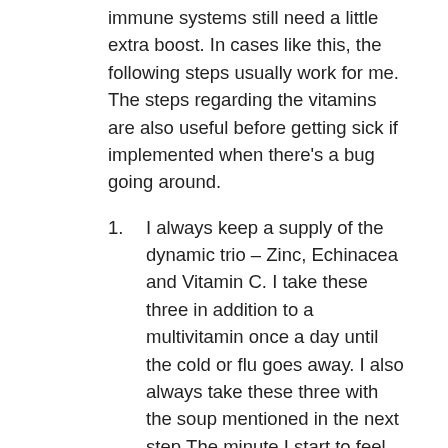immune systems still need a little extra boost. In cases like this, the following steps usually work for me. The steps regarding the vitamins are also useful before getting sick if implemented when there's a bug going around.
I always keep a supply of the dynamic trio – Zinc, Echinacea and Vitamin C. I take these three in addition to a multivitamin once a day until the cold or flu goes away. I also always take these three with the soup mentioned in the next step.The minute I start to feel under the weather, I either make or buy some Veggie soup without noodles or pasteurized dairy or MSG. I do add some spices and make sure it has enough natural sodium from sea salt to make the soup act as saline solution to help loosen up phlegm. As for wheat and pasteurized dairy products, I find that they